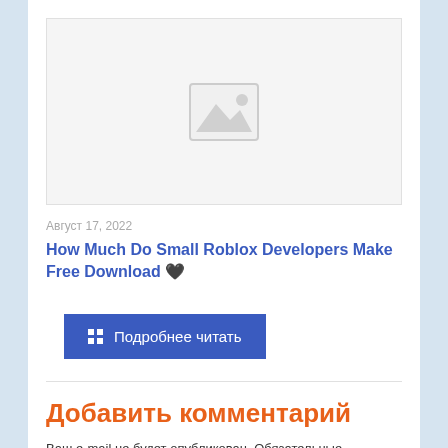[Figure (photo): Placeholder image with mountain/photo icon on light grey background]
Август 17, 2022
How Much Do Small Roblox Developers Make Free Download 🖤
⠿ Подробнее читать
Добавить комментарий
Ваш e-mail не будет опубликован. Обязательные